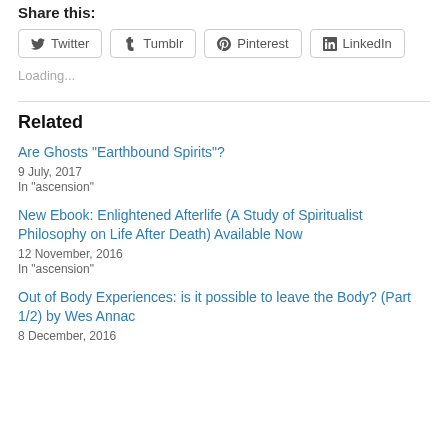Share this:
[Figure (other): Social share buttons: Twitter, Tumblr, Pinterest, LinkedIn]
Loading...
Related
Are Ghosts “Earthbound Spirits”?
9 July, 2017
In "ascension"
New Ebook: Enlightened Afterlife (A Study of Spiritualist Philosophy on Life After Death) Available Now
12 November, 2016
In "ascension"
Out of Body Experiences: is it possible to leave the Body? (Part 1/2) by Wes Annac
8 December, 2016